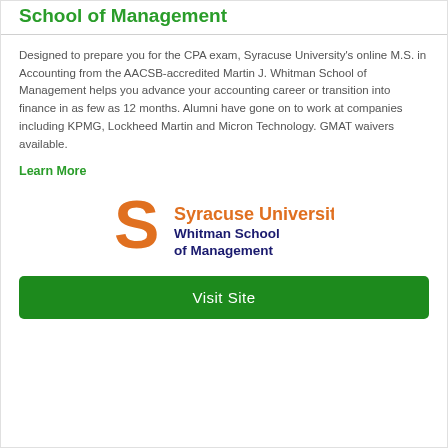School of Management
Designed to prepare you for the CPA exam, Syracuse University's online M.S. in Accounting from the AACSB-accredited Martin J. Whitman School of Management helps you advance your accounting career or transition into finance in as few as 12 months. Alumni have gone on to work at companies including KPMG, Lockheed Martin and Micron Technology. GMAT waivers available.
Learn More
[Figure (logo): Syracuse University Whitman School of Management logo with orange S and orange/navy text]
Visit Site